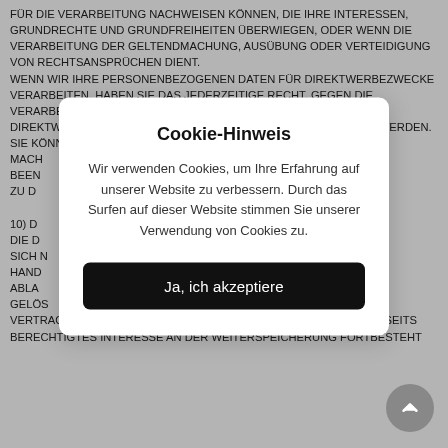FÜR DIE VERARBEITUNG NACHWEISEN KÖNNEN, DIE IHRE INTERESSEN, GRUNDRECHTE UND GRUNDFREIHEITEN ÜBERWIEGEN, ODER WENN DIE VERARBEITUNG DER GELTENDMACHUNG, AUSÜBUNG ODER VERTEIDIGUNG VON RECHTSANSPRÜCHEN DIENT. WENN WIR IHRE PERSONENBEZOGENEN DATEN FÜR DIREKTWERBEZWECKE VERARBEITEN, HABEN SIE DAS JEDERZEITIGE RECHT, GEGEN DIE VERARBEITUNG IHRER PERSONENBEZOGENEN DATEN, DIE FÜR DIREKTWERBEZWECKE VERWENDET WERDEN, WIDERSPRUCH ZU WERDEN. SIE KÖNNEN DEN WIDERSPRUCH WIE C... MACH... BEEN... ZU D...
[Figure (screenshot): Cookie consent modal dialog overlaying the legal text. Title: 'Cookie-Hinweis'. Body text: 'Wir verwenden Cookies, um Ihre Erfahrung auf unserer Website zu verbessern. Durch das Surfen auf dieser Website stimmen Sie unserer Verwendung von Cookies zu.' Button: 'Ja, ich akzeptiere' (dark/black rounded button).]
10) D... Die D... nisst sich n... m (zB hand... Abla... näßig gelös... Vertragsanbahnung erforderlich sind und/oder unsererseits berechtigtes Interesse an der Weiterspeicherung fortbesteht